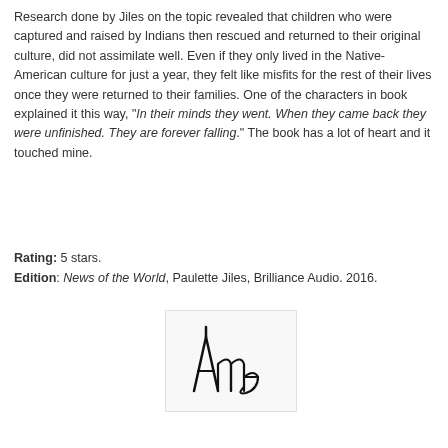Research done by Jiles on the topic revealed that children who were captured and raised by Indians then rescued and returned to their original culture, did not assimilate well. Even if they only lived in the Native-American culture for just a year, they felt like misfits for the rest of their lives once they were returned to their families. One of the characters in book explained it this way, "In their minds they went. When they came back they were unfinished. They are forever falling." The book has a lot of heart and it touched mine.
Rating: 5 stars.
Edition: News of the World, Paulette Jiles, Brilliance Audio. 2016.
[Figure (illustration): Handwritten signature reading 'Anne' in black ink on a light background, inside a rounded rectangle box]